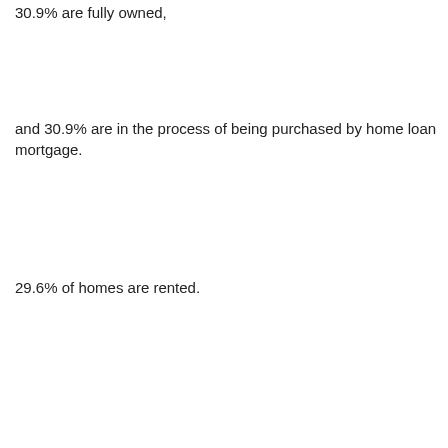30.9% are fully owned,
and 30.9% are in the process of being purchased by home loan mortgage.
29.6% of homes are rented.